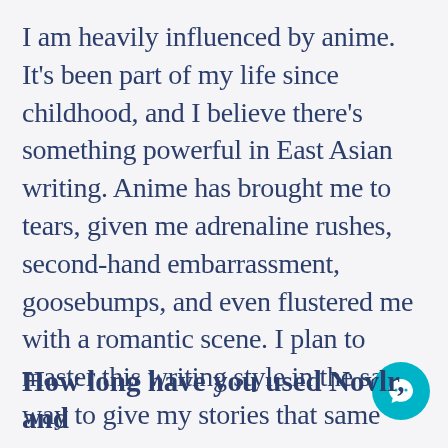I am heavily influenced by anime. It's been part of my life since childhood, and I believe there's something powerful in East Asian writing. Anime has brought me to tears, given me adrenaline rushes, second-hand embarrassment, goosebumps, and even flustered me with a romantic scene. I plan to master this writing style in the same way to give my stories that same power.
How long have you used Novlr, and
[Figure (other): Teal circular chat/message button icon in bottom right corner]